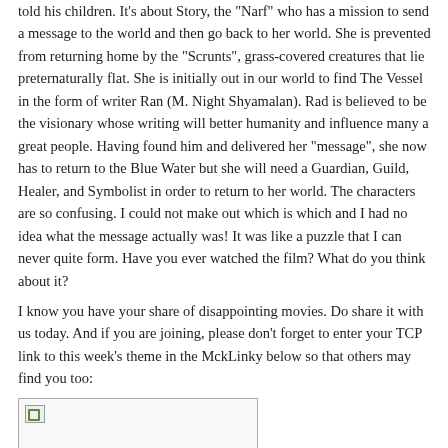told his children. It's about Story, the "Narf" who has a mission to send a message to the world and then go back to her world. She is prevented from returning home by the "Scrunts", grass-covered creatures that lie preternaturally flat. She is initially out in our world to find The Vessel in the form of writer Ran (M. Night Shyamalan). Rad is believed to be the visionary whose writing will better humanity and influence many a great people. Having found him and delivered her "message", she now has to return to the Blue Water but she will need a Guardian, Guild, Healer, and Symbolist in order to return to her world. The characters are so confusing. I could not make out which is which and I had no idea what the message actually was! It was like a puzzle that I can never quite form. Have you ever watched the film? What do you think about it?
I know you have your share of disappointing movies. Do share it with us today. And if you are joining, please don't forget to enter your TCP link to this week's theme in the MckLinky below so that others may find you too:
[Figure (other): Broken image placeholder with small green icon in top-left corner]